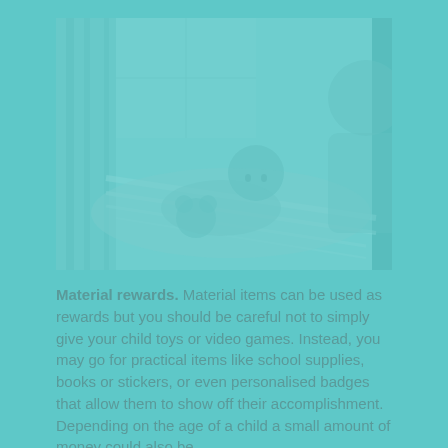[Figure (photo): A child lying in a hammock or sling, holding a stuffed animal, with an adult visible in the background. Image has a teal/cyan color overlay.]
Material rewards. Material items can be used as rewards but you should be careful not to simply give your child toys or video games. Instead, you may go for practical items like school supplies, books or stickers, or even personalised badges that allow them to show off their accomplishment. Depending on the age of a child a small amount of money could also be